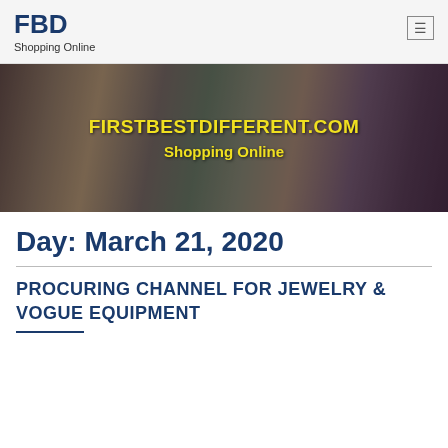FBD
Shopping Online
[Figure (photo): Banner image showing women shopping at outdoor mall with text overlay: FIRSTBESTDIFFERENT.COM Shopping Online in yellow bold text]
Day: March 21, 2020
PROCURING CHANNEL FOR JEWELRY & VOGUE EQUIPMENT